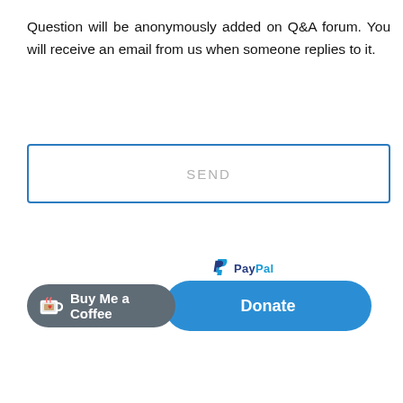Question will be anonymously added on Q&A forum. You will receive an email from us when someone replies to it.
[Figure (screenshot): A SEND button rendered as a rectangular input/button with a blue border and light gray 'SEND' text centered inside.]
[Figure (other): Two donation buttons side by side: a dark gray 'Buy Me a Coffee' button with a coffee cup icon, and a blue PayPal 'Donate' button with the PayPal logo above it.]